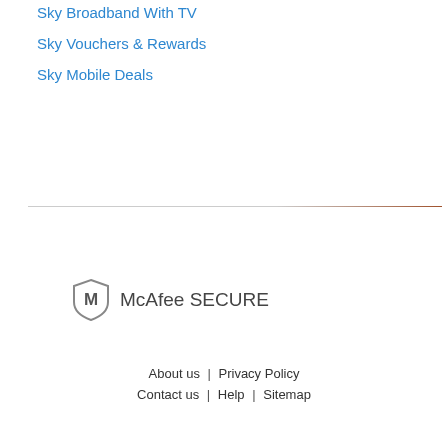Sky Broadband With TV
Sky Vouchers & Rewards
Sky Mobile Deals
[Figure (logo): McAfee SECURE logo with shield icon and text]
About us | Privacy Policy
Contact us | Help | Sitemap